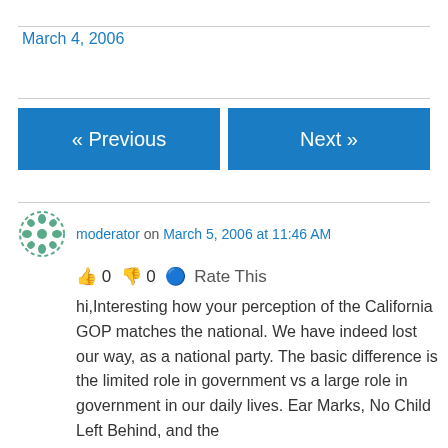March 4, 2006
« Previous
Next »
moderator on March 5, 2006 at 11:46 AM
👍 0 👎 0 ℹ Rate This
hi,Interesting how your perception of the California GOP matches the national. We have indeed lost our way, as a national party. The basic difference is the limited role in government vs a large role in government in our daily lives. Ear Marks, No Child Left Behind, and the